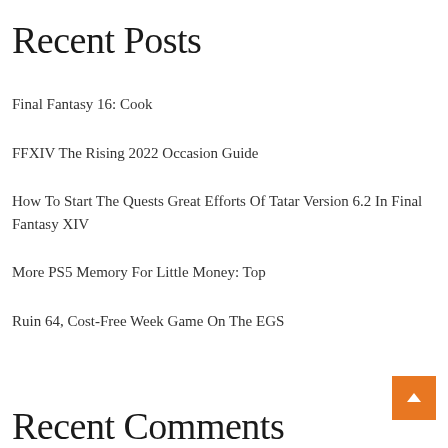Recent Posts
Final Fantasy 16: Cook
FFXIV The Rising 2022 Occasion Guide
How To Start The Quests Great Efforts Of Tatar Version 6.2 In Final Fantasy XIV
More PS5 Memory For Little Money: Top
Ruin 64, Cost-Free Week Game On The EGS
Recent Comments